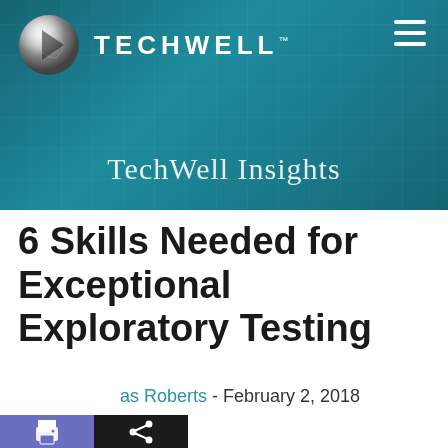[Figure (screenshot): TechWell website header banner with teal/dark blue background, TechWell logo with silver circle icon on left, hamburger menu icon on right, and 'TechWell Insights' subtitle text centered at bottom]
6 Skills Needed for Exceptional Exploratory Testing
...as Roberts - February 2, 2018